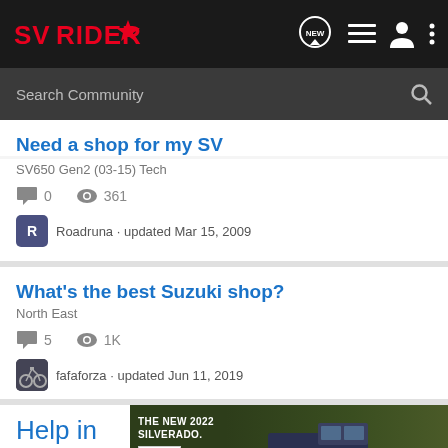SVRIDER
Search Community
Need a shop for my SV
SV650 Gen2 (03-15) Tech
0 comments  361 views
Roadruna · updated Mar 15, 2009
What's the best Suzuki shop?
North East
5 comments  1K views
fafaforza · updated Jun 11, 2019
[Figure (photo): Chevrolet 2022 Silverado advertisement banner with truck image and Chevrolet logo]
Help in...